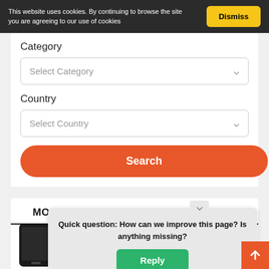This website uses cookies. By continuing to browse the site you are agreeing to our use of cookies
Dismiss
Category
Select Category
Country
Select Country
Search
MOBILE APPS – NETWORK ON THE GO
[Figure (screenshot): Two smartphone devices shown partially at the bottom of a card]
Quick question: How can we improve this page? Is anything missing?
Reply